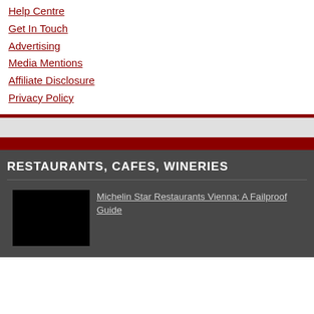Help Centre
Get In Touch
Advertising
Media Mentions
Affiliate Disclosure
Privacy Policy
RESTAURANTS, CAFES, WINERIES
[Figure (photo): Black thumbnail image for article about Michelin Star Restaurants Vienna]
Michelin Star Restaurants Vienna: A Failproof Guide